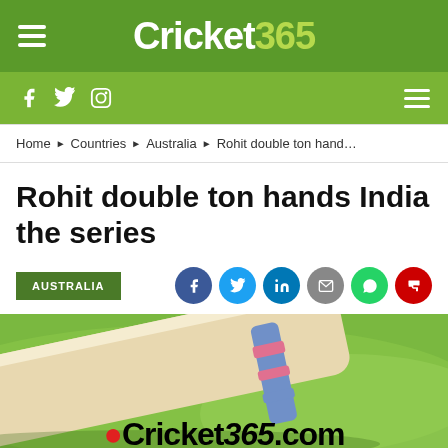Cricket365
f  Twitter  Instagram
Home ▶ Countries ▶ Australia ▶ Rohit double ton hand…
Rohit double ton hands India the series
AUSTRALIA
[Figure (photo): A cricket bat lying on grass, with Cricket365.com logo overlay at the bottom]